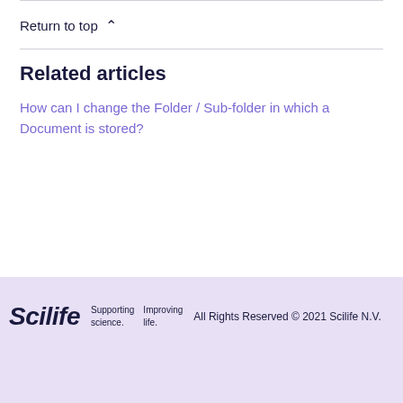Return to top ^
Related articles
How can I change the Folder / Sub-folder in which a Document is stored?
Scilife  Supporting science.  Improving life.  All Rights Reserved © 2021 Scilife N.V.